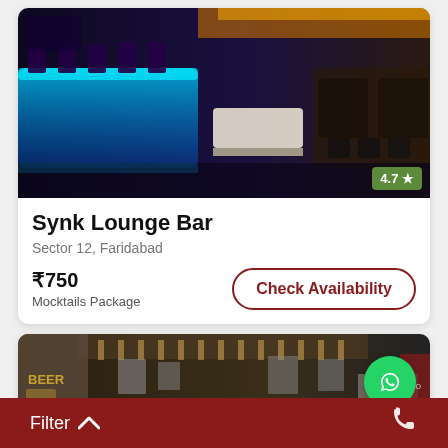[Figure (photo): Interior of Synk Lounge Bar with blue LED lit bar counter on the left, high stools, illuminated tables, and dining area with dark chairs on the right. Rating badge showing 4.7 with star in green bottom-right corner.]
Synk Lounge Bar
Sector 12, Faridabad
₹750
Mocktails Package
Check Availability
[Figure (photo): Interior of a second bar/restaurant with warm lighting, pictures on stone walls, wooden ceiling, seating booths.]
Chat
Filter